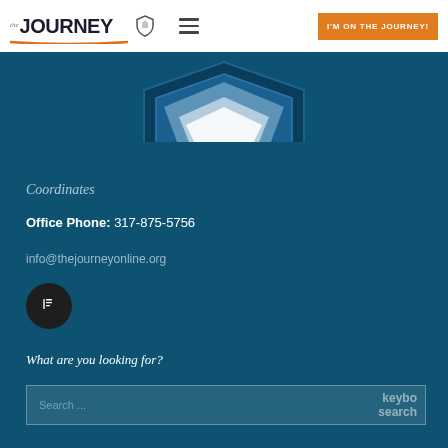the JOURNEY | [shield icon] | [hamburger menu] | I'M ON THE JOURNEY!
[Figure (illustration): Partial view of a shield/badge emblem with blue and white design, cropped at top]
Coordinates
Office Phone: 317-875-5756
info@thejourneyonline.org
[Figure (other): Dark circular social media icon button with a letter/info icon]
What are you looking for?
Search ... keybo search